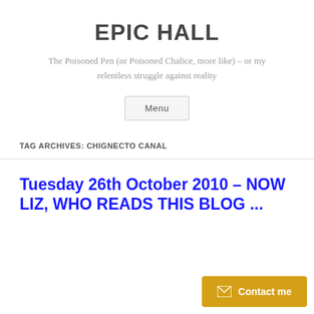EPIC HALL
The Poisoned Pen (or Poisoned Chalice, more like) – or my relentless struggle against reality
Menu
TAG ARCHIVES: CHIGNECTO CANAL
Tuesday 26th October 2010 – NOW LIZ, WHO READS THIS BLOG ...
Contact me